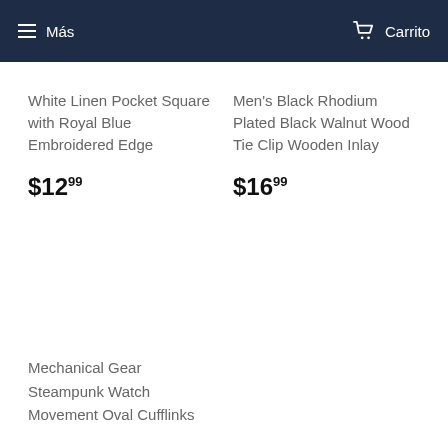Más  Carrito
White Linen Pocket Square with Royal Blue Embroidered Edge
$12.99
Men's Black Rhodium Plated Black Walnut Wood Tie Clip Wooden Inlay
$16.99
Mechanical Gear Steampunk Watch Movement Oval Cufflinks